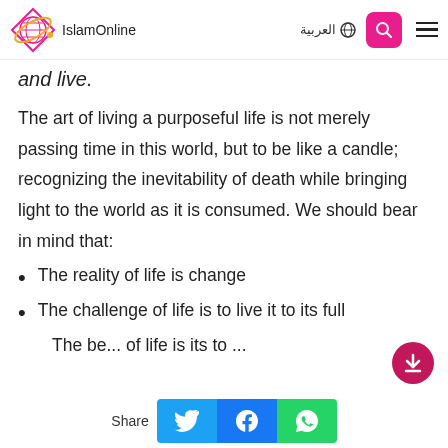IslamOnline | العربية
and live.
The art of living a purposeful life is not merely passing time in this world, but to be like a candle; recognizing the inevitability of death while bringing light to the world as it is consumed. We should bear in mind that:
The reality of life is change
The challenge of life is to live it to its full
The ...